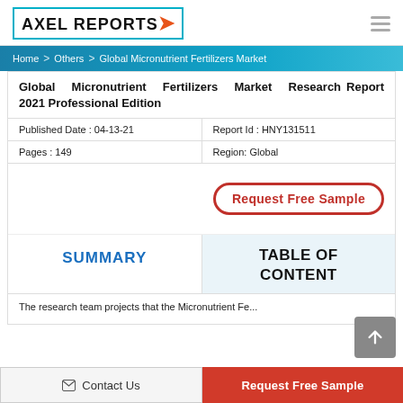AXEL REPORTS
Home > Others > Global Micronutrient Fertilizers Market
Global Micronutrient Fertilizers Market Research Report 2021 Professional Edition
| Published Date : 04-13-21 | Report Id : HNY131511 |
| Pages : 149 | Region: Global |
[Figure (other): Request Free Sample button with red oval border]
SUMMARY
TABLE OF CONTENT
The research team projects that the Micronutrient Fe...
Contact Us   Request Free Sample